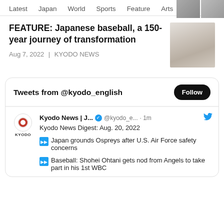Latest   Japan   World   Sports   Feature   Arts
FEATURE: Japanese baseball, a 150-year journey of transformation
Aug 7, 2022 | KYODO NEWS
[Figure (photo): Article thumbnail image related to Japanese baseball]
Tweets from @kyodo_english
Kyodo News | J... @kyodo_e... · 1m
Kyodo News Digest: Aug. 20, 2022

▶▶Japan grounds Ospreys after U.S. Air Force safety concerns

▶▶Baseball: Shohei Ohtani gets nod from Angels to take part in his 1st WBC